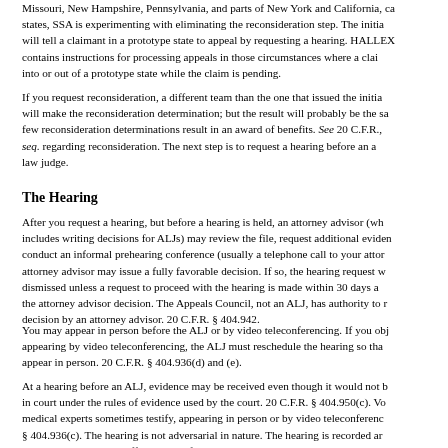Missouri, New Hampshire, Pennsylvania, and parts of New York and California, ca states, SSA is experimenting with eliminating the reconsideration step. The initia will tell a claimant in a prototype state to appeal by requesting a hearing. HALLEX contains instructions for processing appeals in those circumstances where a clai into or out of a prototype state while the claim is pending.
If you request reconsideration, a different team than the one that issued the initia will make the reconsideration determination; but the result will probably be the sa few reconsideration determinations result in an award of benefits. See 20 C.F.R., seq. regarding reconsideration. The next step is to request a hearing before an a law judge.
The Hearing
After you request a hearing, but before a hearing is held, an attorney advisor (wh includes writing decisions for ALJs) may review the file, request additional eviden conduct an informal prehearing conference (usually a telephone call to your attor attorney advisor may issue a fully favorable decision. If so, the hearing request w dismissed unless a request to proceed with the hearing is made within 30 days a the attorney advisor decision. The Appeals Council, not an ALJ, has authority to r decision by an attorney advisor. 20 C.F.R. § 404.942.
You may appear in person before the ALJ or by video teleconferencing. If you obj appearing by video teleconferencing, the ALJ must reschedule the hearing so tha appear in person. 20 C.F.R. § 404.936(d) and (e).
At a hearing before an ALJ, evidence may be received even though it would not b in court under the rules of evidence used by the court. 20 C.F.R. § 404.950(c). Vo medical experts sometimes testify, appearing in person or by video teleconferenc § 404.936(c). The hearing is not adversarial in nature. The hearing is recorded ar taken under oath or by affirmation. After the hearing, a written decision is issued l administrative law judge. See The Hearing and 20 C.F.R. §§ 404.929 et seq.